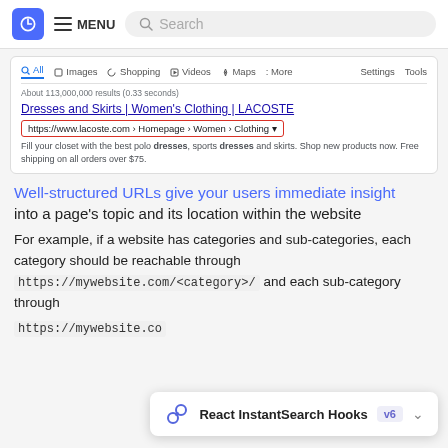Navigation bar with logo, MENU, and Search
[Figure (screenshot): Google search results screenshot showing a Lacoste result with URL breadcrumb highlighted in a red box: https://www.lacoste.com › Homepage › Women › Clothing]
Well-structured URLs give your users immediate insight
into a page's topic and its location within the website
For example, if a website has categories and sub-categories, each category should be reachable through https://mywebsite.com/<category>/ and each sub-category through
https://mywebsite.co
[Figure (infographic): React InstantSearch Hooks tooltip badge showing version v6 with a chain link icon]